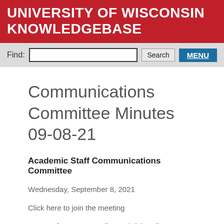UNIVERSITY OF WISCONSIN KNOWLEDGEBASE
[Figure (screenshot): Search bar with Find label, text input, Search button, and MENU button]
Communications Committee Minutes 09-08-21
Academic Staff Communications Committee
Wednesday, September 8, 2021
Click here to join the meeting
In attendance: Mary Ellen Gabriel, Felipe